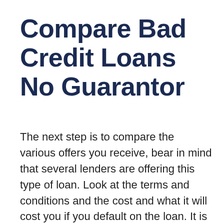Compare Bad Credit Loans No Guarantor
The next step is to compare the various offers you receive, bear in mind that several lenders are offering this type of loan. Look at the terms and conditions and the cost and what it will cost you if you default on the loan. It is also worth finding out whether they offer any flexible loans so that you can extend the period over which you pay back the